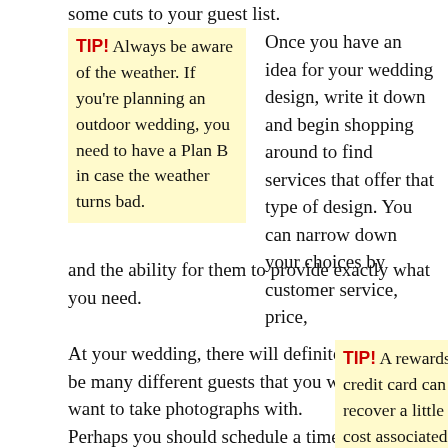some cuts to your guest list.
TIP! Always be aware of the weather. If you're planning an outdoor wedding, you need to have a Plan B in case the weather turns bad.
Once you have an idea for your wedding design, write it down and begin shopping around to find services that offer that type of design. You can narrow down your choices by customer service, price, and the ability for them to provide exactly what you need.
At your wedding, there will definitely be many different guests that you will want to take photographs with. Perhaps you should schedule a time for group pictures, since getting everyone's attention during the reception will be hard. Make sure your guests
TIP! A rewards-based credit card can help you recover a little bit of the cost associated with your wedding. Weddings cost a lot, so it is a good idea to use a card that offers miles or